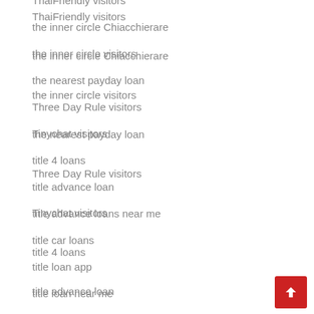ThaiFriendly visitors
the inner circle Chiacchierare
the inner circle visitors
the nearest payday loan
Three Day Rule visitors
Tinychat visitors
title 4 loans
title advance loan
title advance loans near me
title car loans
title loan app
title loan near me
title loan today